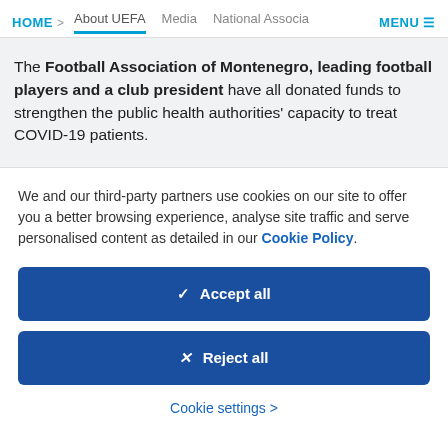HOME > About UEFA  Media  National Associa  MENU ≡
The Football Association of Montenegro, leading football players and a club president have all donated funds to strengthen the public health authorities' capacity to treat COVID-19 patients.
We and our third-party partners use cookies on our site to offer you a better browsing experience, analyse site traffic and serve personalised content as detailed in our Cookie Policy.
✓  Accept all
✕  Reject all
Cookie settings >